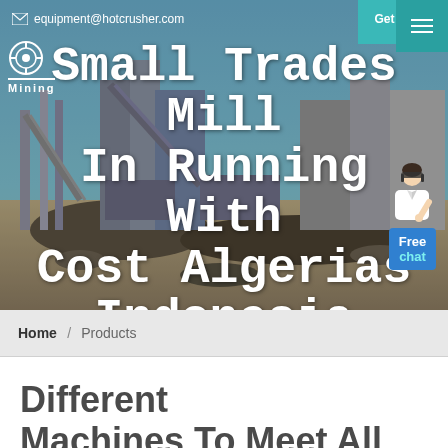equipment@hotcrusher.com  Get A Talk
[Figure (photo): Industrial mining facility with conveyor belts and crushers under a blue sky, serving as hero background image]
Small Trades Mill In Running With Cost Algerias Indonesia
Home / Products
Different Machines To Meet All